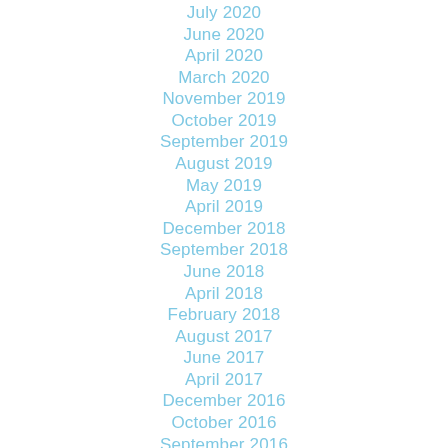July 2020
June 2020
April 2020
March 2020
November 2019
October 2019
September 2019
August 2019
May 2019
April 2019
December 2018
September 2018
June 2018
April 2018
February 2018
August 2017
June 2017
April 2017
December 2016
October 2016
September 2016
August 2016